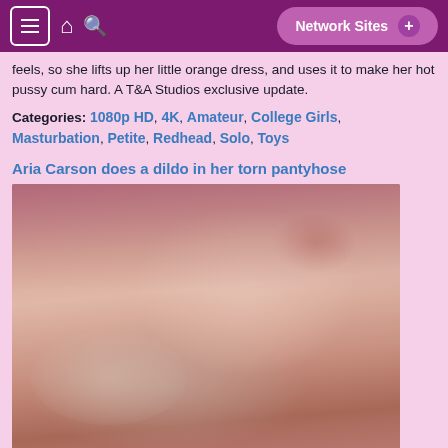Network Sites +
feels, so she lifts up her little orange dress, and uses it to make her hot pussy cum hard. A T&A Studios exclusive update.
Categories: 1080p HD, 4K, Amateur, College Girls, Masturbation, Petite, Redhead, Solo, Toys
Aria Carson does a dildo in her torn pantyhose
[Figure (photo): A redheaded woman lying on a surface, wearing a black top, with green painted fingernails.]